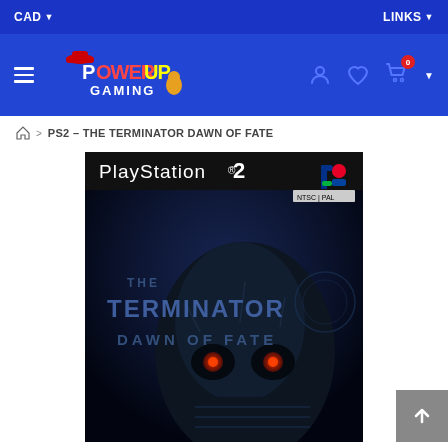CAD  LINKS
[Figure (logo): PowerUp Gaming logo with hamburger menu, user icon, heart icon, and shopping cart with 0 badge]
PS2 - THE TERMINATOR DAWN OF FATE
[Figure (photo): PlayStation 2 game cover for The Terminator: Dawn of Fate, showing a dark Terminator robot skull with glowing red eyes, 'THE TERMINATOR DAWN OF FATE' text on the cover, PlayStation 2 logo at the top with the PlayStation logo mark in multicolor]